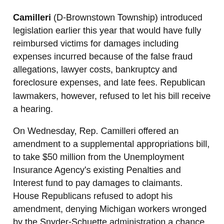Camilleri (D-Brownstown Township) introduced legislation earlier this year that would have fully reimbursed victims for damages including expenses incurred because of the false fraud allegations, lawyer costs, bankruptcy and foreclosure expenses, and late fees. Republican lawmakers, however, refused to let his bill receive a hearing.
On Wednesday, Rep. Camilleri offered an amendment to a supplemental appropriations bill, to take $50 million from the Unemployment Insurance Agency's existing Penalties and Interest fund to pay damages to claimants. House Republicans refused to adopt his amendment, denying Michigan workers wronged by the Snyder-Schuette administration a chance to be made whole.
“Since the day I took office, I’ve been fighting for Michigan’s working families. That’s why I’ve introduced